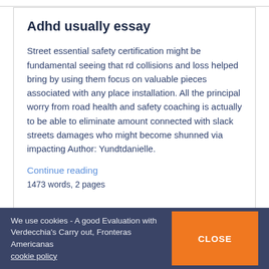Adhd usually essay
Street essential safety certification might be fundamental seeing that rd collisions and loss helped bring by using them focus on valuable pieces associated with any place installation. All the principal worry from road health and safety coaching is actually to be able to eliminate amount connected with slack streets damages who might become shunned via impacting Author: Yundtdanielle.
Continue reading
1473 words, 2 pages
Essay on electronic payment systems
We use cookies - A good Evaluation with Verdecchia's Carry out, Fronteras Americanas cookie policy